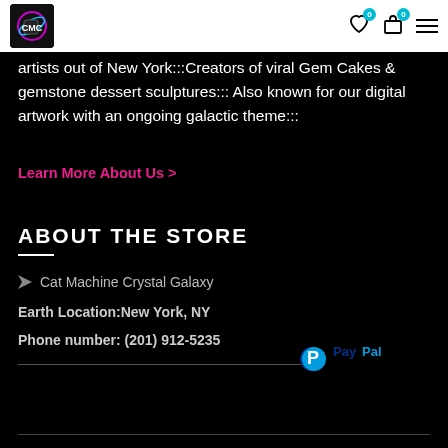Cat Machine Crystal Galaxy store header with logo and icons (wishlist: 0, cart: 0, menu)
artists out of New York:::Creators of viral Gem Cakes & gemstone dessert sculptures::: Also known for our digital artwork with an ongoing galactic theme:::
Learn More About Us >
ABOUT THE STORE
Cat Machine Crystal Galaxy
Earth Location:New York, NY
Phone number: (201) 912-5235
[Figure (logo): PayPal logo in blue tones]
© 2022 Cat Machine Crystal Galaxy. All rights reserved